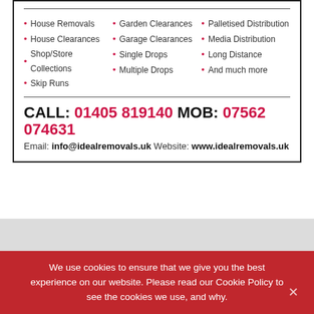House Removals, House Clearances, Shop/Store Collections, Skip Runs, Garden Clearances, Garage Clearances, Single Drops, Multiple Drops, Palletised Distribution, Media Distribution, Long Distance, And much more
CALL: 01405 819140 MOB: 07562 074631
Email: info@idealremovals.uk Website: www.idealremovals.uk
We use cookies to ensure that we give you the best experience on our website. Please read our Cookie Policy to see the cookies we use, and why.